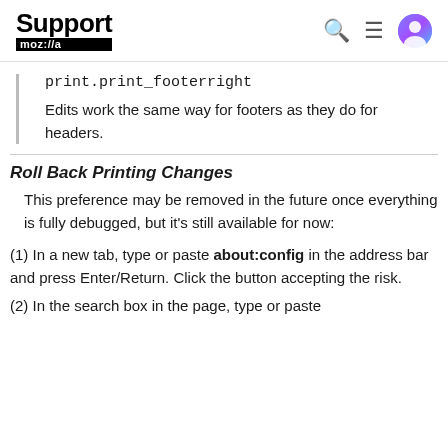Support moz://a
print.print_footerright
Edits work the same way for footers as they do for headers.
Roll Back Printing Changes
This preference may be removed in the future once everything is fully debugged, but it's still available for now:
(1) In a new tab, type or paste about:config in the address bar and press Enter/Return. Click the button accepting the risk.
(2) In the search box in the page, type or paste